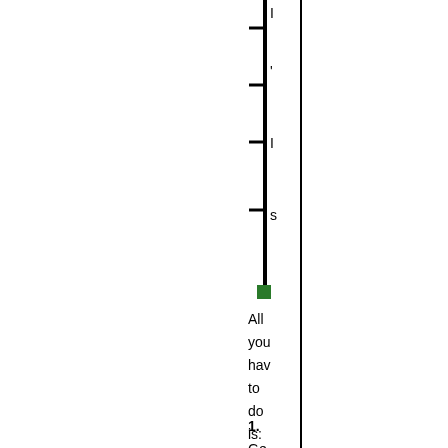[Figure (other): A vertical black line with horizontal tick marks at intervals, with a small green square at the bottom of the line.]
All you have to do is:
1. Get